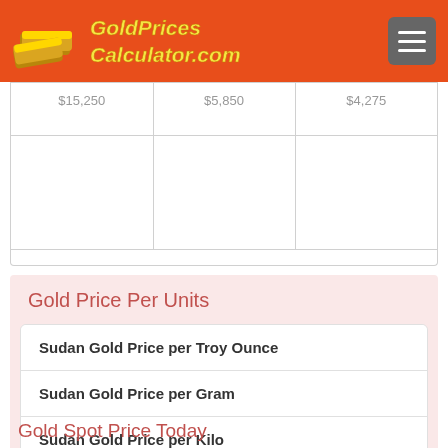GoldPrices Calculator.com
|  |  |  |
| --- | --- | --- |
| $15,250 | $5,850 | $4,275 |
Gold Price Per Units
Sudan Gold Price per Troy Ounce
Sudan Gold Price per Gram
Sudan Gold Price per Kilo
Sudan Gold Price per Tola
Gold Spot Price Today